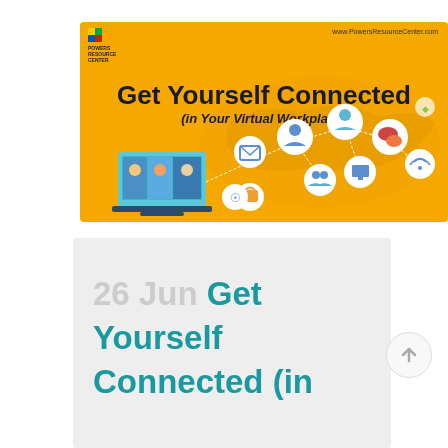[Figure (illustration): Yellow banner for 'Get Yourself Connected (in Your Virtual Workplace)' course by Powers Resource Center. Features a laptop with video call, connected icons representing email, chat, people, and a world map in the background. URL: www.PowersResourceCenter.com]
26 Jun Get Yourself Connected (in